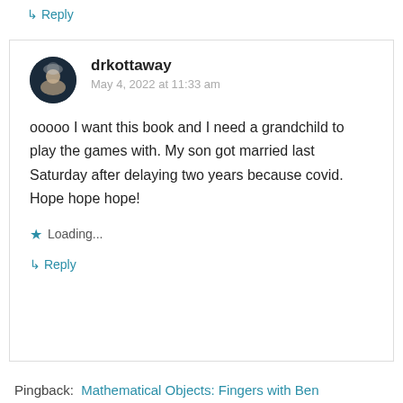↳ Reply
drkottaway
May 4, 2022 at 11:33 am
ooooo I want this book and I need a grandchild to play the games with. My son got married last Saturday after delaying two years because covid. Hope hope hope!
Loading...
↳ Reply
Pingback:  Mathematical Objects: Fingers with Ben